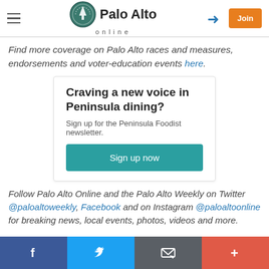Palo Alto Online — Header with hamburger menu, logo, login icon, and Join button
Find more coverage on Palo Alto races and measures, endorsements and voter-education events here.
Craving a new voice in Peninsula dining?
Sign up for the Peninsula Foodist newsletter.
Sign up now
Follow Palo Alto Online and the Palo Alto Weekly on Twitter @paloaltoweekly, Facebook and on Instagram @paloaltoonline for breaking news, local events, photos, videos and more.
Social share bar: Facebook, Twitter, Email, Plus